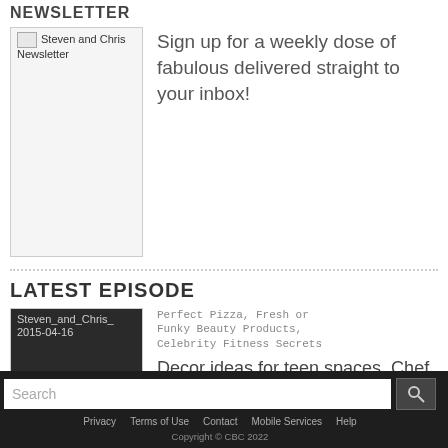NEWSLETTER
[Figure (photo): Steven and Chris Newsletter image placeholder]
Sign up for a weekly dose of fabulous delivered straight to your inbox!
LATEST EPISODE
[Figure (screenshot): Steven_and_Chris_ 2015-04-16 video thumbnail with play button]
Perfect Pizza, Fresh or Funky Beauty Products, Celebrity Fitness Secrets
Decor ideas for teen spaces, Chef Mezzolo shares pizza-making
Search | Privacy | Terms of Use | Contact | Mobile Services | Help | Copyright © CBC 2022